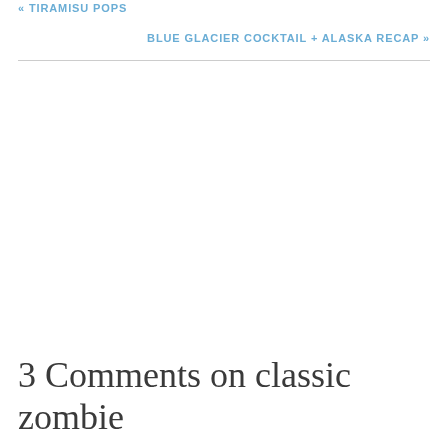« TIRAMISU POPS
BLUE GLACIER COCKTAIL + ALASKA RECAP »
3 Comments on classic zombie